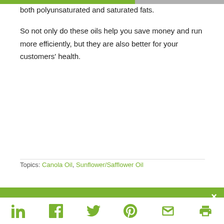both polyunsaturated and saturated fats.
So not only do these oils help you save money and run more efficiently, but they are also better for your customers' health.
Topics: Canola Oil, Sunflower/Safflower Oil
Get your questions answered!
Have a question that you'd like to have answered in a future article?  Tell us below so that we can write an article to address exactly what you want to learn.
[Figure (infographic): Social sharing icons bar at bottom: LinkedIn, Facebook, Twitter, Pinterest, Email, Print — all in green]